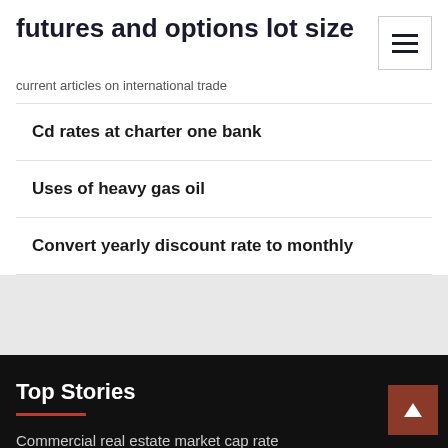futures and options lot size
current articles on international trade
Cd rates at charter one bank
Uses of heavy gas oil
Convert yearly discount rate to monthly
Top Stories
Commercial real estate market cap rate